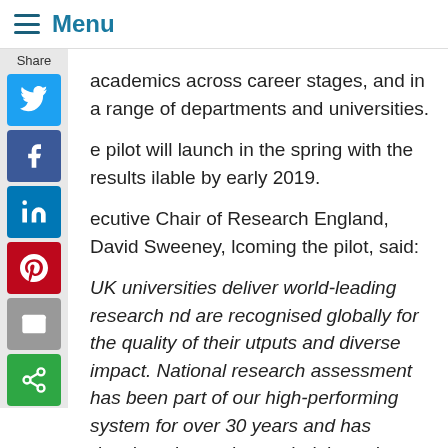Menu
academics across career stages, and in a range of departments and universities.
The pilot will launch in the spring with the results available by early 2019.
Executive Chair of Research England, David Sweeney, welcoming the pilot, said:
UK universities deliver world-leading research and are recognised globally for the quality of their outputs and diverse impact. National research assessment has been part of our high-performing system for over 30 years and has developed over that period through consultation with the community. This work presents an opportunity to